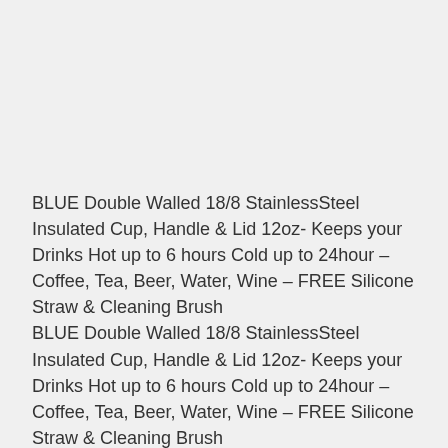BLUE Double Walled 18/8 StainlessSteel Insulated Cup, Handle & Lid 12oz- Keeps your Drinks Hot up to 6 hours Cold up to 24hour – Coffee, Tea, Beer, Water, Wine – FREE Silicone Straw & Cleaning Brush
BLUE Double Walled 18/8 StainlessSteel Insulated Cup, Handle & Lid 12oz- Keeps your Drinks Hot up to 6 hours Cold up to 24hour – Coffee, Tea, Beer, Water, Wine – FREE Silicone Straw & Cleaning Brush
- Amazing durable 18/8 stainless steel double walled cup cold or hot inside and always perfect outside to your hand easy grip bpa free. Must have arrives with